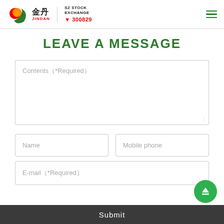金丹 JINDAN SZ STOCK EXCHANGE 300829
LEAVE A MESSAGE
Contents（*Required）
Name
Mobile phone
E-mail（*Required）
Submit